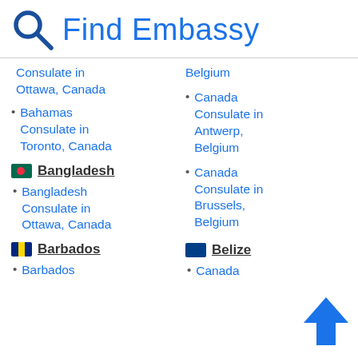Find Embassy
Consulate in Ottawa, Canada
Bahamas Consulate in Toronto, Canada
Bangladesh
Bangladesh Consulate in Ottawa, Canada
Barbados
Barbados
Belgium
Canada Consulate in Antwerp, Belgium
Canada Consulate in Brussels, Belgium
Belize
Canada